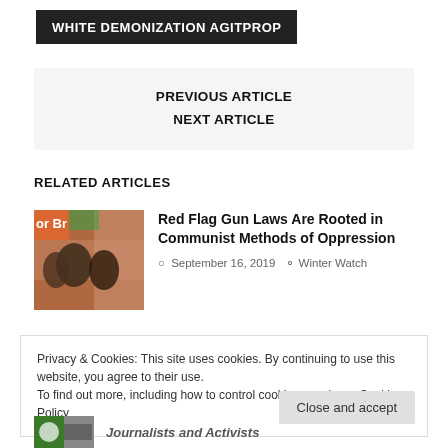WHITE DEMONIZATION AGITPROP
PREVIOUS ARTICLE
NEXT ARTICLE
RELATED ARTICLES
[Figure (photo): Thumbnail image of people in a crowd with colorful background]
Red Flag Gun Laws Are Rooted in Communist Methods of Oppression
September 16, 2019   Winter Watch
Privacy & Cookies: This site uses cookies. By continuing to use this website, you agree to their use.
To find out more, including how to control cookies, see here: Cookie Policy
Close and accept
[Figure (photo): Partial thumbnail image at bottom of page]
Journalists and Activists